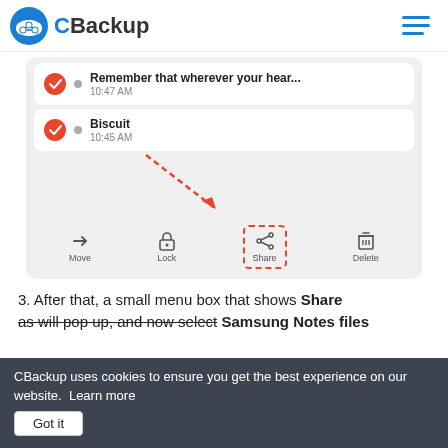CBackup
[Figure (screenshot): Samsung Notes app screenshot showing two note items ('Remember that wherever your hear...' at 10:47 AM and 'Biscuit' at 10:45 AM) with a bottom toolbar showing Move, Lock, Share (highlighted with red dashed box and red dashed arrow pointing to it), and Delete buttons.]
3. After that, a small menu box that shows Share
as will pop up, and now select Samsung Notes files
CBackup uses cookies to ensure you get the best experience on our website.  Learn more   Got it